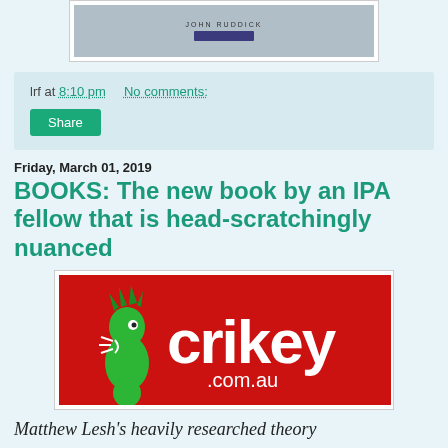[Figure (photo): Top portion of a book cover showing 'JOHN RUDDICK' text]
lrf at 8:10 pm   No comments:
Share
Friday, March 01, 2019
BOOKS: The new book by an IPA fellow that is head-scratchingly nuanced
[Figure (logo): Crikey.com.au logo on red background with green cartoon mascot]
Matthew Lesh's heavily researched theory